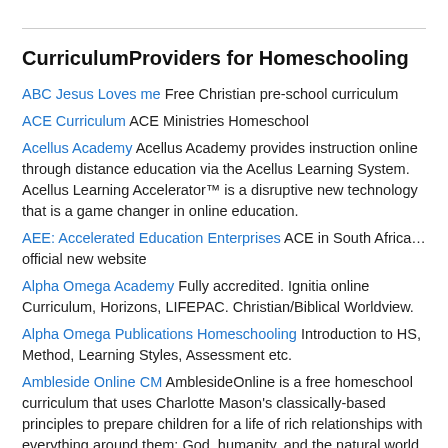CurriculumProviders for Homeschooling
ABC Jesus Loves me Free Christian pre-school curriculum
ACE Curriculum ACE Ministries Homeschool
Acellus Academy Acellus Academy provides instruction online through distance education via the Acellus Learning System. Acellus Learning Accelerator™ is a disruptive new technology that is a game changer in online education.
AEE: Accelerated Education Enterprises ACE in South Africa…official new website
Alpha Omega Academy Fully accredited. Ignitia online Curriculum, Horizons, LIFEPAC. Christian/Biblical Worldview.
Alpha Omega Publications Homeschooling Introduction to HS, Method, Learning Styles, Assessment etc.
Ambleside Online CM AmblesideOnline is a free homeschool curriculum that uses Charlotte Mason's classically-based principles to prepare children for a life of rich relationships with everything around them: God, humanity, and the natural world.